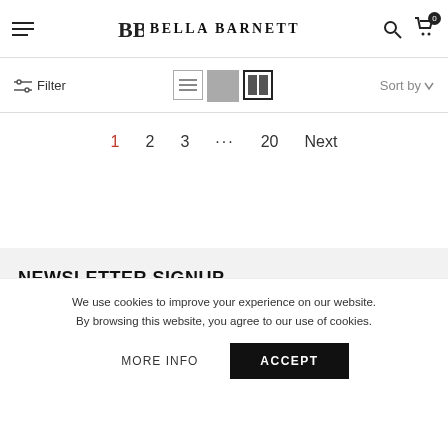BELLA BARNETT
Filter | Sort by
1  2  3  ...  20  Next
NEWSLETTER SIGNUP
Subscribe today and get $15 off your first purchase
We use cookies to improve your experience on our website. By browsing this website, you agree to our use of cookies.
MORE INFO  ACCEPT